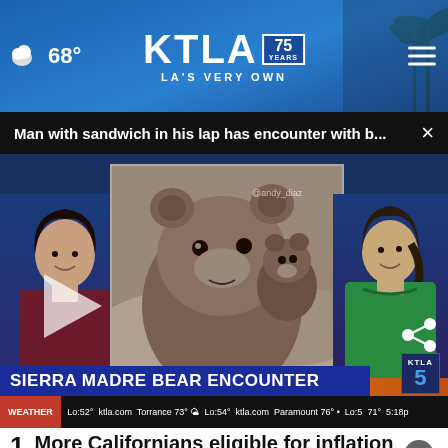68° KTLA 75 YEARS LA'S VERY OWN
Man with sandwich in his lap has encounter with b... ×
[Figure (screenshot): KTLA news broadcast video still showing two female news anchors flanking a video clip of a bear cub close-up with another bear in the background. Lower third reads 'SIERRA MADRE BEAR ENCOUNTER' with weather ticker below. KTLA 5 logo visible bottom right. Play button overlay on left. Share icon top right.]
1  More Californians eligible for inflation relief checks
[Figure (photo): TRIAX Lubricants Fleet advertisement showing red eagle/hawk logo on dark background, with text 'TRIAX Lubricants', 'Extreme durability & longevity', and an 'Open' button]
2  S... in Victorville